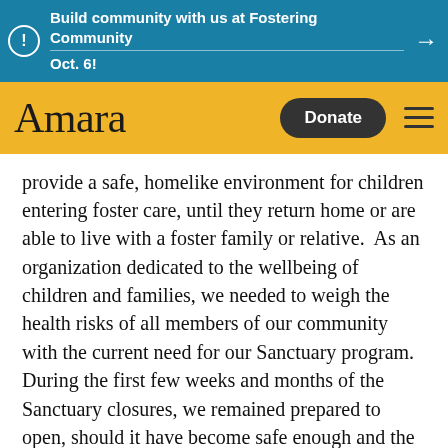Build community with us at Fostering Community Oct. 6!
[Figure (logo): Amara organization logo with yellow background, Donate button, and hamburger menu]
provide a safe, homelike environment for children entering foster care, until they return home or are able to live with a foster family or relative.  As an organization dedicated to the wellbeing of children and families, we needed to weigh the health risks of all members of our community with the current need for our Sanctuary program. During the first few weeks and months of the Sanctuary closures, we remained prepared to open, should it have become safe enough and the community need increased.
After working on strategies to mitigate risk to children, staff, and volunteers, we made the difficult